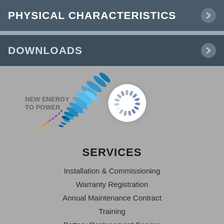PHYSICAL CHARACTERISTICS
DOWNLOADS
[Figure (logo): New Energy To Power logo with colorful feather/leaf pattern forming a comet shape, alongside a loading spinner circle]
SERVICES
Installation & Commissioning
Warranty Registration
Annual Maintenance Contract
Training
Battery Replacement Service
Service Locator